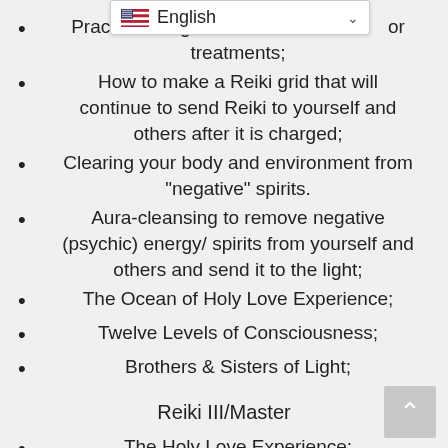Practice using the Us[e] or treatments;
How to make a Reiki grid that will continue to send Reiki to yourself and others after it is charged;
Clearing your body and environment from "negative" spirits.
Aura-cleansing to remove negative (psychic) energy/ spirits from yourself and others and send it to the light;
The Ocean of Holy Love Experience;
Twelve Levels of Consciousness;
Brothers & Sisters of Light;
Reiki III/Master
The Holy Love Experience;